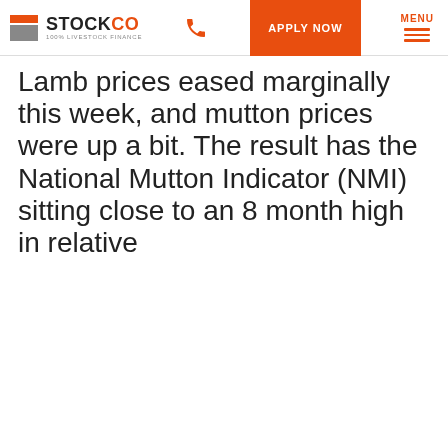STOCKCO 100% LIVESTOCK FINANCE | APPLY NOW | MENU
Lamb prices eased marginally this week, and mutton prices were up a bit. The result has the National Mutton Indicator (NMI) sitting close to an 8 month high in relative